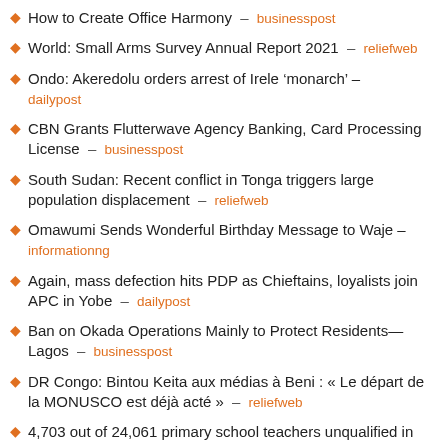How to Create Office Harmony – businesspost
World: Small Arms Survey Annual Report 2021 – reliefweb
Ondo: Akeredolu orders arrest of Irele 'monarch' – dailypost
CBN Grants Flutterwave Agency Banking, Card Processing License – businesspost
South Sudan: Recent conflict in Tonga triggers large population displacement – reliefweb
Omawumi Sends Wonderful Birthday Message to Waje – informationng
Again, mass defection hits PDP as Chieftains, loyalists join APC in Yobe – dailypost
Ban on Okada Operations Mainly to Protect Residents—Lagos – businesspost
DR Congo: Bintou Keita aux médias à Beni : « Le départ de la MONUSCO est déjà acté » – reliefweb
4,703 out of 24,061 primary school teachers unqualified in